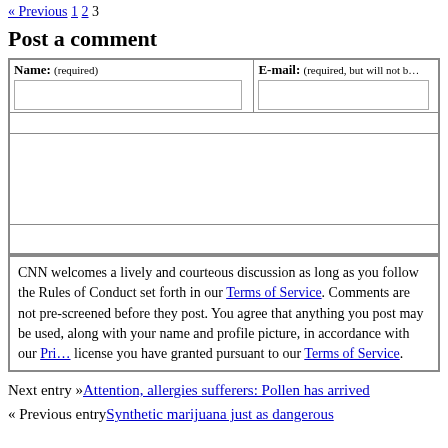« Previous 1 2 3
Post a comment
Name: (required)   E-mail: (required, but will not be published)
CNN welcomes a lively and courteous discussion as long as you follow the Rules of Conduct set forth in our Terms of Service. Comments are not pre-screened before they post. You agree that anything you post may be used, along with your name and profile picture, in accordance with our Privacy Policy and the license you have granted pursuant to our Terms of Service.
Next entry »Attention, allergies sufferers: Pollen has arrived
« Previous entrySynthetic marijuana just as dangerous